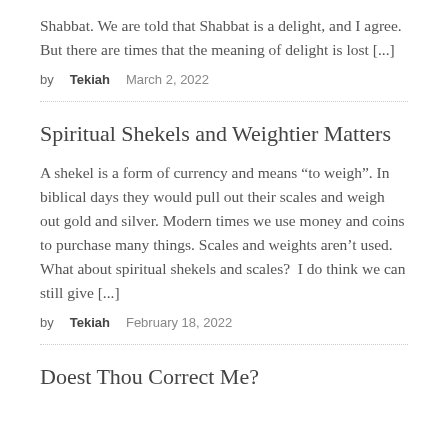Shabbat. We are told that Shabbat is a delight, and I agree. But there are times that the meaning of delight is lost [...]
by Tekiah    March 2, 2022
Spiritual Shekels and Weightier Matters
A shekel is a form of currency and means “to weigh”. In biblical days they would pull out their scales and weigh out gold and silver. Modern times we use money and coins to purchase many things. Scales and weights aren’t used. What about spiritual shekels and scales?  I do think we can still give [...]
by Tekiah    February 18, 2022
Doest Thou Correct Me?